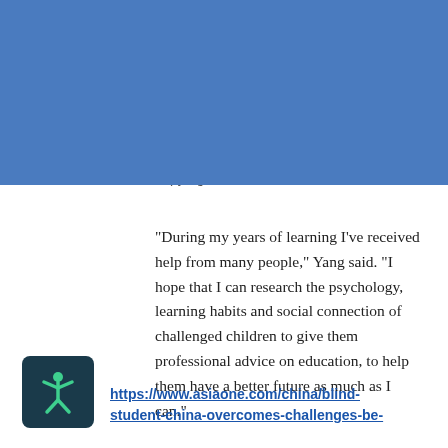[Figure (logo): China Vision logo banner with blue background showing organization name in English and Chinese, with hamburger menu icon]
"During my years of learning I've received help from many people," Yang said. "I hope that I can research the psychology, learning habits and social connection of challenged children to give them professional advice on education, to help them have a better future as much as I can."
[Figure (logo): Accessibility icon - person with arms extended in a dark teal square]
https://www.asiaone.com/china/blind-student-china-overcomes-challenges-be-